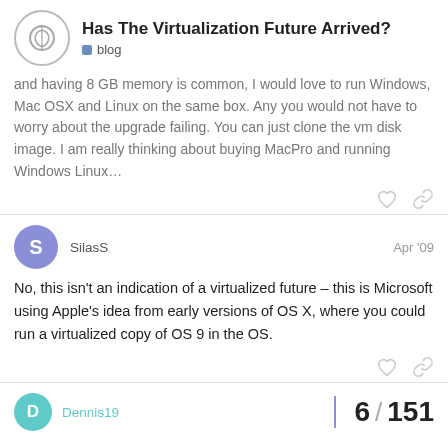Has The Virtualization Future Arrived? blog
and having 8 GB memory is common, I would love to run Windows, Mac OSX and Linux on the same box. Any you would not have to worry about the upgrade failing. You can just clone the vm disk image. I am really thinking about buying MacPro and running Windows Linux…
SilasS  Apr '09
No, this isn't an indication of a virtualized future – this is Microsoft using Apple's idea from early versions of OS X, where you could run a virtualized copy of OS 9 in the OS.
Dennis19  6 / 151